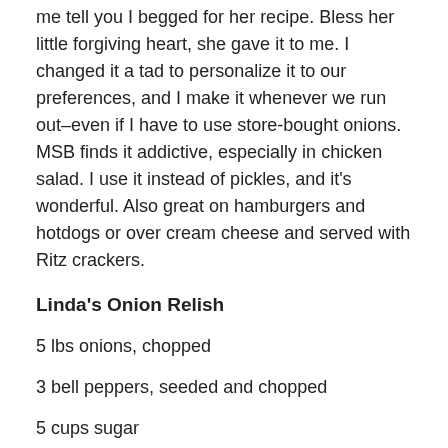me tell you I begged for her recipe. Bless her little forgiving heart, she gave it to me. I changed it a tad to personalize it to our preferences, and I make it whenever we run out–even if I have to use store-bought onions. MSB finds it addictive, especially in chicken salad. I use it instead of pickles, and it's wonderful. Also great on hamburgers and hotdogs or over cream cheese and served with Ritz crackers.
Linda's Onion Relish
5 lbs onions, chopped
3 bell peppers, seeded and chopped
5 cups sugar
4 cups cider vinegar